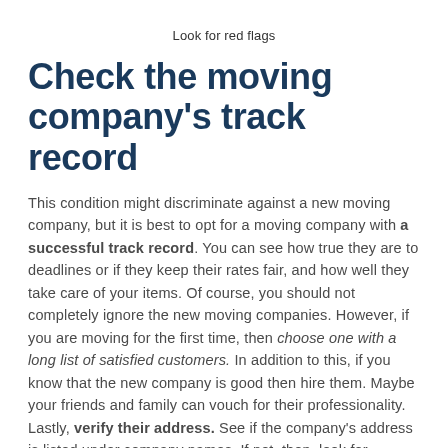Look for red flags
Check the moving company's track record
This condition might discriminate against a new moving company, but it is best to opt for a moving company with a successful track record. You can see how true they are to deadlines or if they keep their rates fair, and how well they take care of your items. Of course, you should not completely ignore the new moving companies. However, if you are moving for the first time, then choose one with a long list of satisfied customers. In addition to this, if you know that the new company is good then hire them. Maybe your friends and family can vouch for their professionality. Lastly, verify their address. See if the company's address is listed under company names. If not, then, look for another moving company.